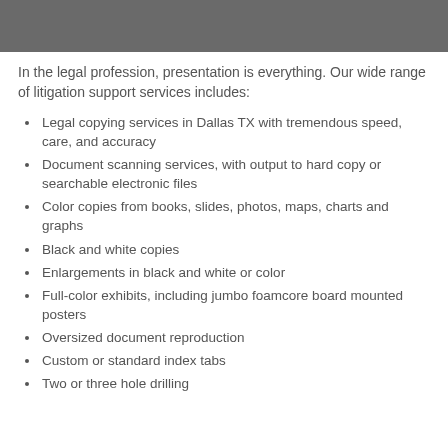[Figure (photo): Photograph of stacked papers or legal documents, cropped at top of page]
In the legal profession, presentation is everything. Our wide range of litigation support services includes:
Legal copying services in Dallas TX with tremendous speed, care, and accuracy
Document scanning services, with output to hard copy or searchable electronic files
Color copies from books, slides, photos, maps, charts and graphs
Black and white copies
Enlargements in black and white or color
Full-color exhibits, including jumbo foamcore board mounted posters
Oversized document reproduction
Custom or standard index tabs
Two or three hole drilling